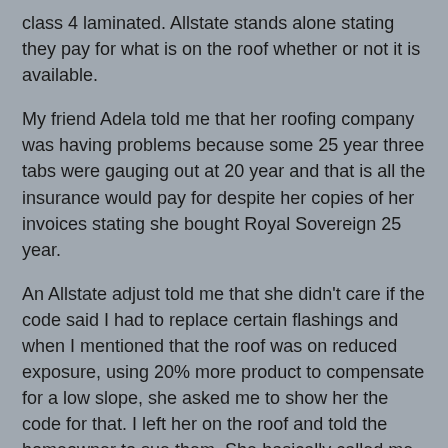class 4 laminated. Allstate stands alone stating they pay for what is on the roof whether or not it is available.
My friend Adela told me that her roofing company was having problems because some 25 year three tabs were gauging out at 20 year and that is all the insurance would pay for despite her copies of her invoices stating she bought Royal Sovereign 25 year.
An Allstate adjust told me that she didn't care if the code said I had to replace certain flashings and when I mentioned that the roof was on reduced exposure, using 20% more product to compensate for a low slope, she asked me to show her the code for that. I left her on the roof and told the homeowner to sue them. She basically called me stupid. That....
Now that we have established that they use the code when they want and ignore it when they want, we know they ignore thickness whenever, no, all the time. There are no standard laminates that match the Prestique Plus for thickness. Period! You have to go to specialty roofing to match them.